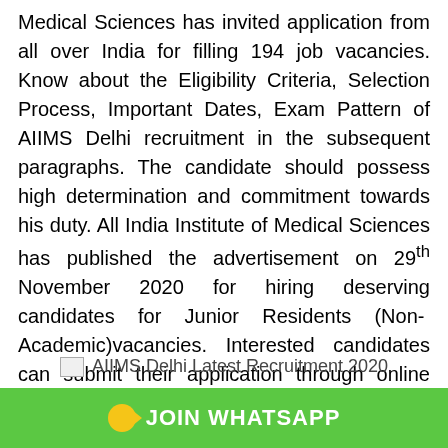Medical Sciences has invited application from all over India for filling 194 job vacancies. Know about the Eligibility Criteria, Selection Process, Important Dates, Exam Pattern of AIIMS Delhi recruitment in the subsequent paragraphs. The candidate should possess high determination and commitment towards his duty. All India Institute of Medical Sciences has published the advertisement on 29th November 2020 for hiring deserving candidates for Junior Residents (Non- Academic)vacancies. Interested candidates can submit their application through online mode within the deadline.
[Figure (other): Image placeholder with alt text: AIIMS Delhi Latest Recruitment 2020]
JOIN WHATSAPP